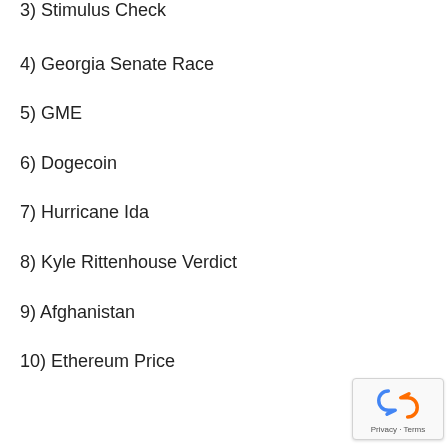3) Stimulus Check
4) Georgia Senate Race
5) GME
6) Dogecoin
7) Hurricane Ida
8) Kyle Rittenhouse Verdict
9) Afghanistan
10) Ethereum Price